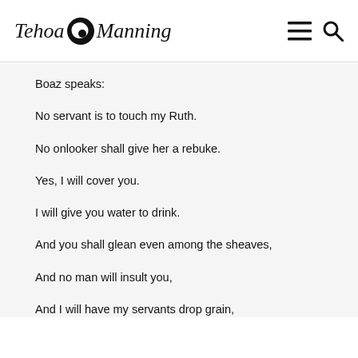Tehoa Manning
Boaz speaks:

No servant is to touch my Ruth.

No onlooker shall give her a rebuke.

Yes, I will cover you.

I will give you water to drink.

And you shall glean even among the sheaves,

And no man will insult you,

And I will have my servants drop grain,